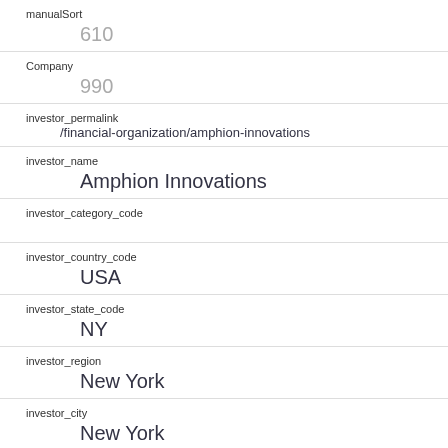manualSort
610
Company
990
investor_permalink
/financial-organization/amphion-innovations
investor_name
Amphion Innovations
investor_category_code
investor_country_code
USA
investor_state_code
NY
investor_region
New York
investor_city
New York
funding_round_type
venture
funded_at